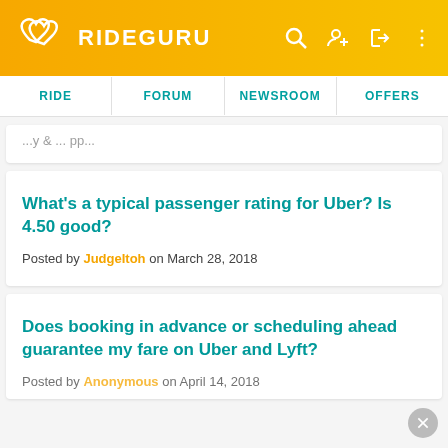RIDEGURU — RIDE | FORUM | NEWSROOM | OFFERS
Posted by ... on ... (truncated top card)
What's a typical passenger rating for Uber? Is 4.50 good?
Posted by JudgeItoh on March 28, 2018
Does booking in advance or scheduling ahead guarantee my fare on Uber and Lyft?
Posted by Anonymous on April 14, 2018